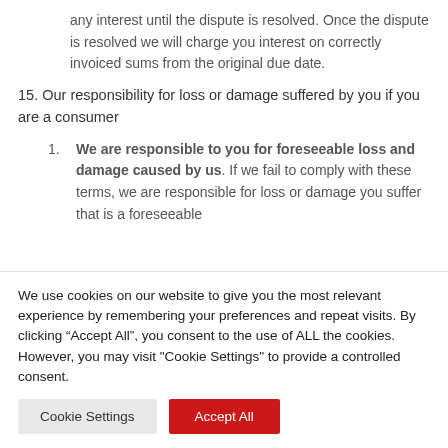any interest until the dispute is resolved. Once the dispute is resolved we will charge you interest on correctly invoiced sums from the original due date.
15. Our responsibility for loss or damage suffered by you if you are a consumer
We are responsible to you for foreseeable loss and damage caused by us. If we fail to comply with these terms, we are responsible for loss or damage you suffer that is a foreseeable
We use cookies on our website to give you the most relevant experience by remembering your preferences and repeat visits. By clicking “Accept All”, you consent to the use of ALL the cookies. However, you may visit "Cookie Settings" to provide a controlled consent.